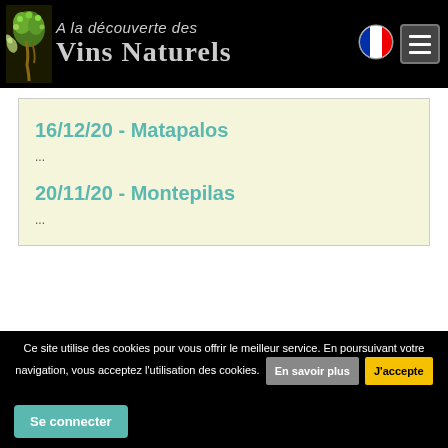A la découverte des Vins Naturels
16/12/20 - Matapalos
...
20/11/20 - Montepilas
...
Prochains salons
Salons passés
Ce site utilise des cookies pour vous offrir le meilleur service. En poursuivant votre navigation, vous acceptez l'utilisation des cookies.
Se connecter